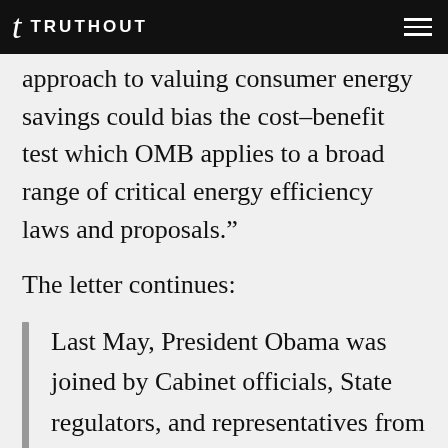TRUTHOUT
approach to valuing consumer energy savings could bias the cost-benefit test which OMB applies to a broad range of critical energy efficiency laws and proposals."
The letter continues:
Last May, President Obama was joined by Cabinet officials, State regulators, and representatives from the auto industry as he announced groundbreaking clean vehicle standards. In response, the